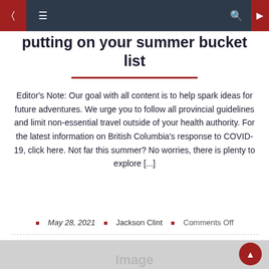Navigation bar with menu icons and search
putting on your summer bucket list
Editor's Note: Our goal with all content is to help spark ideas for future adventures. We urge you to follow all provincial guidelines and limit non-essential travel outside of your health authority. For the latest information on British Columbia's response to COVID-19, click here. Not far this summer? No worries, there is plenty to explore [...]
May 28, 2021   Jackson Clint   Comments Off
[Figure (photo): Large image placeholder area with 'Image' text label, light grey background]